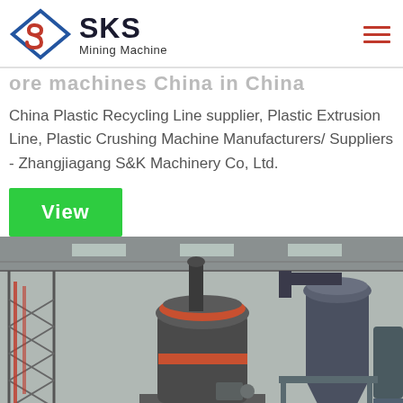SKS Mining Machine
ore machines China in China
China Plastic Recycling Line supplier, Plastic Extrusion Line, Plastic Crushing Machine Manufacturers/ Suppliers - Zhangjiagang S&K Machinery Co, Ltd.
View
[Figure (photo): Industrial factory interior showing large mining/grinding mill machines with dust collectors and conveyor systems inside a large warehouse.]